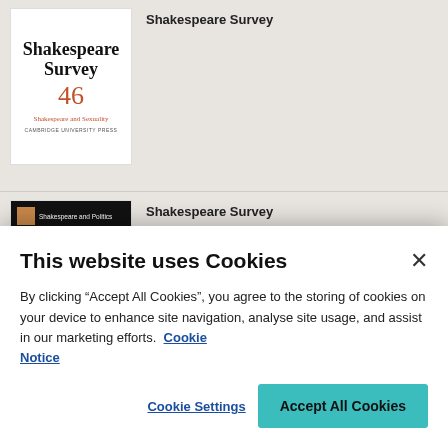[Figure (illustration): Book cover for Shakespeare Survey 46 - Shakespeare and Sexuality, published by Cambridge University Press. White background with serif title text and orange number 46.]
Shakespeare Survey
[Figure (illustration): Book cover for Shakespeare Survey - Shakespeare and Politics. Dark/black background with orange square logo, white header text, and portrait silhouette.]
Shakespeare Survey
This website uses Cookies
By clicking “Accept All Cookies”, you agree to the storing of cookies on your device to enhance site navigation, analyse site usage, and assist in our marketing efforts.  Cookie Notice
Cookie Settings
Accept All Cookies